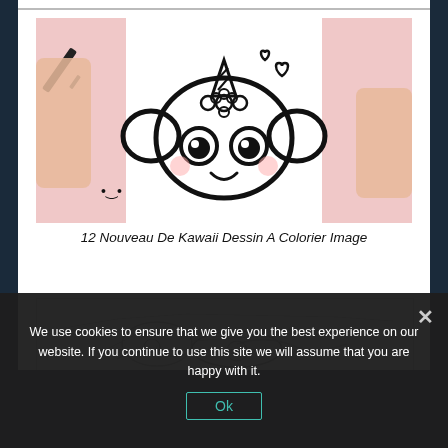[Figure (illustration): A kawaii unicorn candy character being drawn with a black marker on white paper. Hands hold pink paper on either side. The character has big eyes, a horn, heart symbols, and flower decorations.]
12 Nouveau De Kawaii Dessin A Colorier Image
[Figure (illustration): A partial sketch/line drawing of a cartoon character, appears to be the beginning of another kawaii drawing.]
We use cookies to ensure that we give you the best experience on our website. If you continue to use this site we will assume that you are happy with it.
Ok